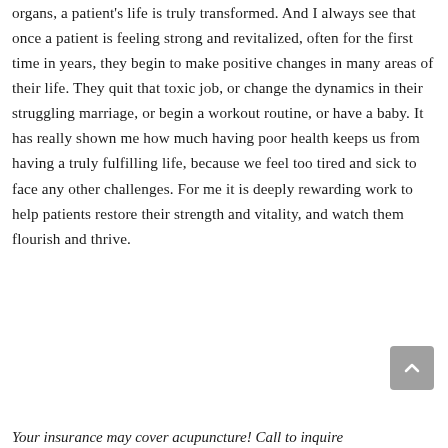organs, a patient's life is truly transformed. And I always see that once a patient is feeling strong and revitalized, often for the first time in years, they begin to make positive changes in many areas of their life. They quit that toxic job, or change the dynamics in their struggling marriage, or begin a workout routine, or have a baby. It has really shown me how much having poor health keeps us from having a truly fulfilling life, because we feel too tired and sick to face any other challenges. For me it is deeply rewarding work to help patients restore their strength and vitality, and watch them flourish and thrive.
[Figure (other): Gray scroll-to-top button with upward chevron arrow]
Your insurance may cover acupuncture! Call to inquire